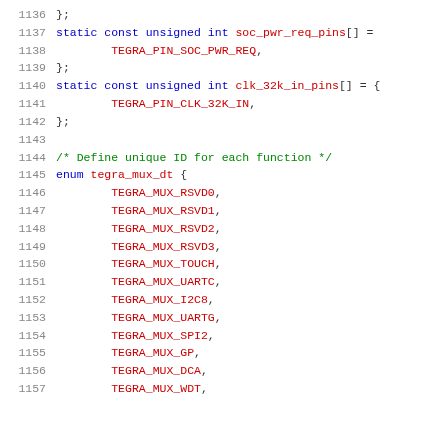[Figure (screenshot): Source code listing in C showing constant arrays and enum definition for Tegra pin mux, lines 1136-1157]